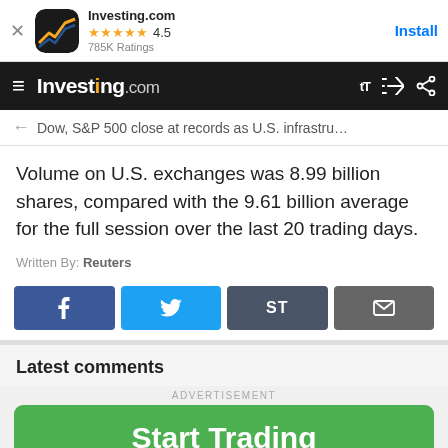[Figure (screenshot): Investing.com app install banner with app icon, 4.5 star rating, 785K Ratings, and Install button]
[Figure (screenshot): Investing.com navigation bar with hamburger menu, logo, font size and share icons]
← Dow, S&P 500 close at records as U.S. infrastru…
Volume on U.S. exchanges was 8.99 billion shares, compared with the 9.61 billion average for the full session over the last 20 trading days.
Written By: Reuters
[Figure (screenshot): Social share buttons: Facebook, Twitter, ST, Email]
Latest comments
ADVERTISEMENT
[Figure (screenshot): Green Start Trading advertisement button with AD label]